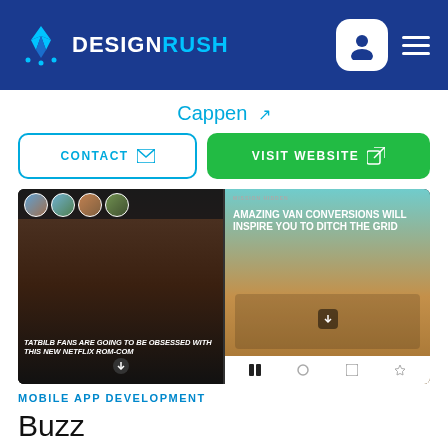DESIGNRUSH
Cappen
CONTACT
VISIT WEBSITE
[Figure (screenshot): Two mobile app screenshots side by side: left shows a Netflix rom-com article with title 'TATBILB FANS ARE GOING TO BE OBSESSED WITH THIS NEW NETFLIX ROM-COM', right shows a van life article 'AMAZING VAN CONVERSIONS WILL INSPIRE YOU TO DITCH THE GRID']
MOBILE APP DEVELOPMENT
Buzz
[Figure (screenshot): Partial yellow-background app screenshot at bottom of page]